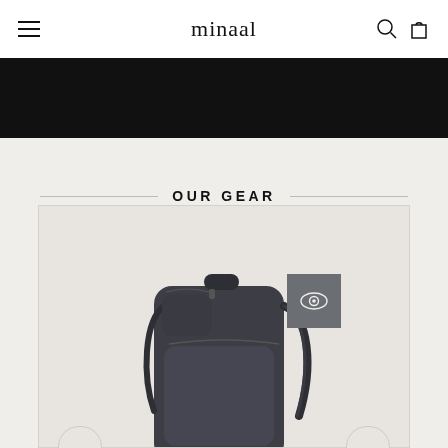minaal
[Figure (screenshot): Black banner area below the navigation header]
OUR GEAR
[Figure (photo): A dark grey/charcoal travel backpack shown from a three-quarter front view. The backpack has multiple compartments, shoulder straps visible, and zipper details. An eye icon button overlay is shown in the upper right of the product image area.]